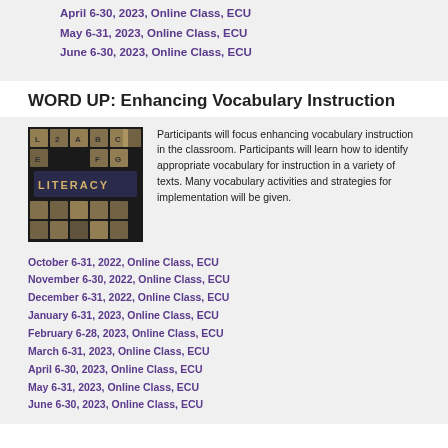April 6-30, 2023, Online Class, ECU
May 6-31, 2023, Online Class, ECU
June 6-30, 2023, Online Class, ECU
WORD UP: Enhancing Vocabulary Instruction
[Figure (photo): Photo of scrabble-like letter tiles spelling LITERACY on a dark background]
Participants will focus enhancing vocabulary instruction in the classroom. Participants will learn how to identify appropriate vocabulary for instruction in a variety of texts. Many vocabulary activities and strategies for implementation will be given.
October 6-31, 2022, Online Class, ECU
November 6-30, 2022, Online Class, ECU
December 6-31, 2022, Online Class, ECU
January 6-31, 2023, Online Class, ECU
February 6-28, 2023, Online Class, ECU
March 6-31, 2023, Online Class, ECU
April 6-30, 2023, Online Class, ECU
May 6-31, 2023, Online Class, ECU
June 6-30, 2023, Online Class, ECU